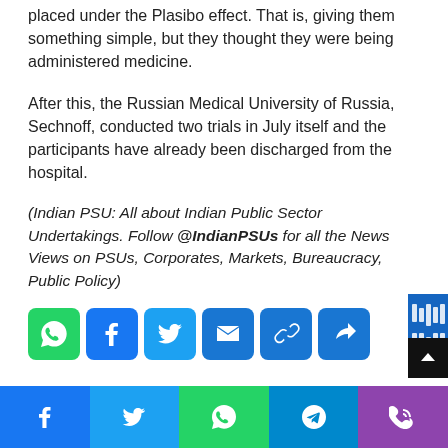placed under the Plasibo effect. That is, giving them something simple, but they thought they were being administered medicine.
After this, the Russian Medical University of Russia, Sechnoff, conducted two trials in July itself and the participants have already been discharged from the hospital.
(Indian PSU: All about Indian Public Sector Undertakings. Follow @IndianPSUs for all the News Views on PSUs, Corporates, Markets, Bureaucracy, Public Policy)
[Figure (infographic): Social share buttons row: WhatsApp (green), Facebook (blue), Twitter (light blue), Email (blue), Link (blue), Share/More (blue)]
[Figure (infographic): Bottom navigation bar with Facebook, Twitter, WhatsApp, Telegram, and Phone icons in colored sections]